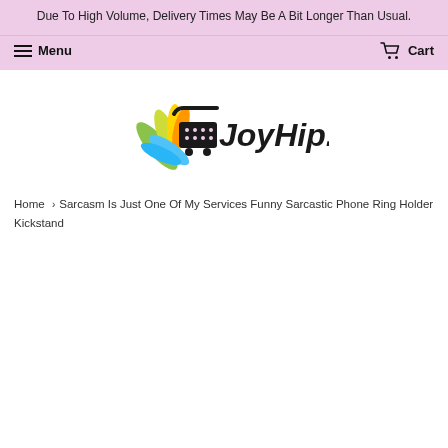Due To High Volume, Delivery Times May Be A Bit Longer Than Usual.
Menu | Cart
[Figure (logo): JoyHip.Com logo with a colorful bird/fan shape and shopping cart icon]
Home › Sarcasm Is Just One Of My Services Funny Sarcastic Phone Ring Holder Kickstand